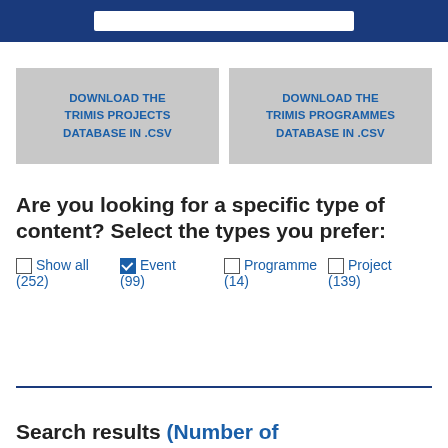[Figure (screenshot): Blue header bar with white search input box]
DOWNLOAD THE TRIMIS PROJECTS DATABASE IN .CSV
DOWNLOAD THE TRIMIS PROGRAMMES DATABASE IN .CSV
Are you looking for a specific type of content? Select the types you prefer:
Show all (252)
Event (99)
Programme (14)
Project (139)
Search results (Number of